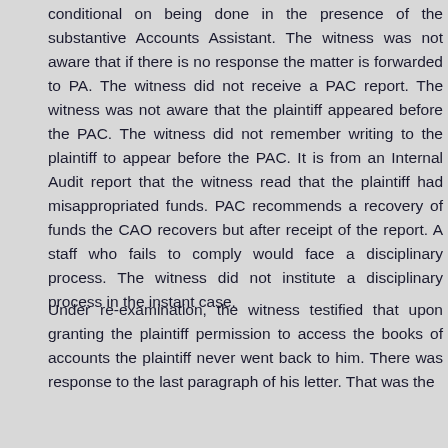conditional on being done in the presence of the substantive Accounts Assistant. The witness was not aware that if there is no response the matter is forwarded to PA. The witness did not receive a PAC report. The witness was not aware that the plaintiff appeared before the PAC. The witness did not remember writing to the plaintiff to appear before the PAC. It is from an Internal Audit report that the witness read that the plaintiff had misappropriated funds. PAC recommends a recovery of funds the CAO recovers but after receipt of the report. A staff who fails to comply would face a disciplinary process. The witness did not institute a disciplinary process in the instant case.
Under re-examination, the witness testified that upon granting the plaintiff permission to access the books of accounts the plaintiff never went back to him. There was response to the last paragraph of his letter. That was the